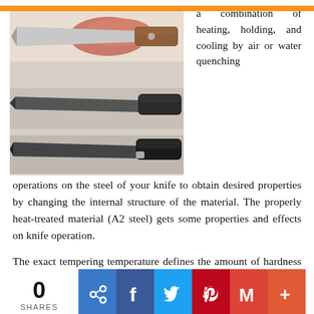[Figure (photo): Three knives displayed on a light surface — one with a wooden/brown handle held in a hand at top, and two dark-handled knives laid flat below. The blades are visible and pointed to the left.]
a combination of heating, holding, and cooling by air or water quenching operations on the steel of your knife to obtain desired properties by changing the internal structure of the material. The properly heat-treated material (A2 steel) gets some properties and effects on knife operation.
The exact tempering temperature defines the amount of hardness removed. High hardness after a TMO increases sharpness retention by adding brittleness. Low hardness increases strength/impact toughness, decreasing the time
0
SHARES